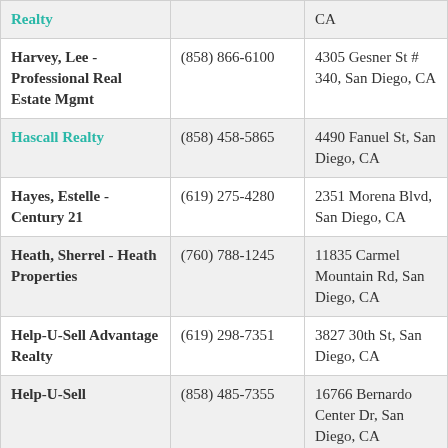| Name | Phone | Address |
| --- | --- | --- |
| Realty |  | CA |
| Harvey, Lee - Professional Real Estate Mgmt | (858) 866-6100 | 4305 Gesner St # 340, San Diego, CA |
| Hascall Realty | (858) 458-5865 | 4490 Fanuel St, San Diego, CA |
| Hayes, Estelle - Century 21 | (619) 275-4280 | 2351 Morena Blvd, San Diego, CA |
| Heath, Sherrel - Heath Properties | (760) 788-1245 | 11835 Carmel Mountain Rd, San Diego, CA |
| Help-U-Sell Advantage Realty | (619) 298-7351 | 3827 30th St, San Diego, CA |
| Help-U-Sell | (858) 485-7355 | 16766 Bernardo Center Dr, San Diego, CA |